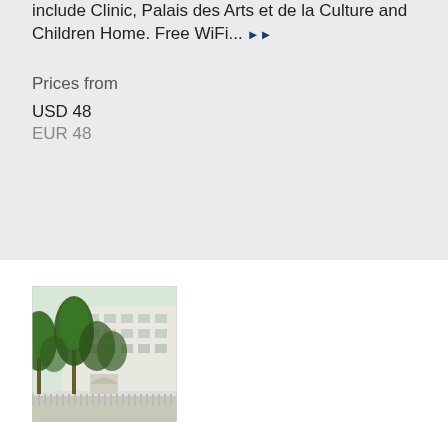include Clinic, Palais des Arts et de la Culture and Children Home. Free WiFi...
Prices from
USD 48
EUR 48
[Figure (photo): Exterior view of a hotel or building with palm trees and tropical vegetation in front, white classical architecture visible in background]